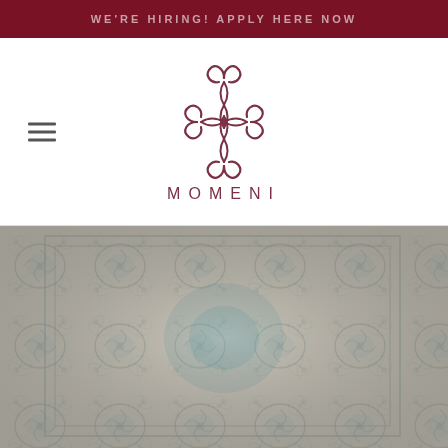WE'RE HIRING! APPLY HERE NOW
[Figure (logo): Momeni brand logo — ornate symmetrical flourish design above the text MOMENI in spaced capital letters]
[Figure (photo): Close-up photograph of a vintage-style Persian/Oriental area rug with teal and grey floral medallion pattern on an ivory/cream background, distressed look]